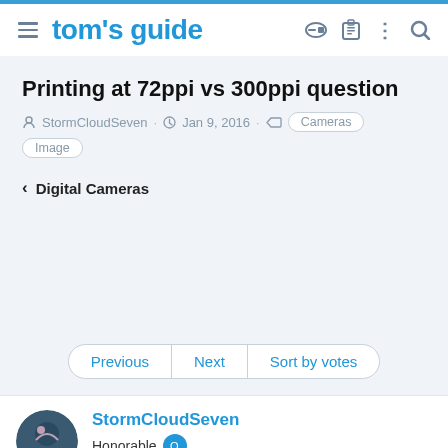tom's guide
Printing at 72ppi vs 300ppi question
StormCloudSeven · Jan 9, 2016 · Cameras Image
< Digital Cameras
Previous | Next | Sort by votes
StormCloudSeven
Honorable